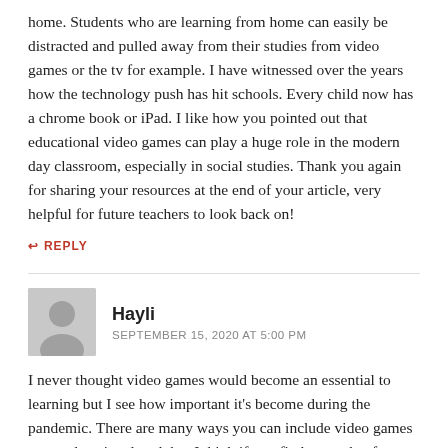home. Students who are learning from home can easily be distracted and pulled away from their studies from video games or the tv for example. I have witnessed over the years how the technology push has hit schools. Every child now has a chrome book or iPad. I like how you pointed out that educational video games can play a huge role in the modern day classroom, especially in social studies. Thank you again for sharing your resources at the end of your article, very helpful for future teachers to look back on!
↩ REPLY
Hayli
SEPTEMBER 15, 2020 AT 5:00 PM
I never thought video games would become an essential to learning but I see how important it's become during the pandemic. There are many ways you can include video games as an educational tool, but I think if you find a couple of